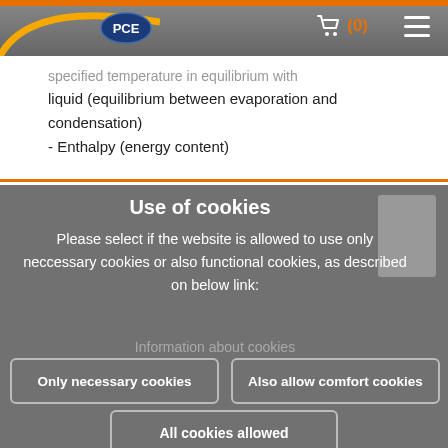PCE navigation bar with logo, cart, and menu
specified temperature in equilibrium with liquid (equilibrium between evaporation and condensation)
- Enthalpy (energy content)
Use of cookies
Please select if the website is allowed to use only neccessary cookies or also functional cookies, as described on below link:
Information about cookies
Only necessary cookies
Also allow comfort cookies
All cookies allowed